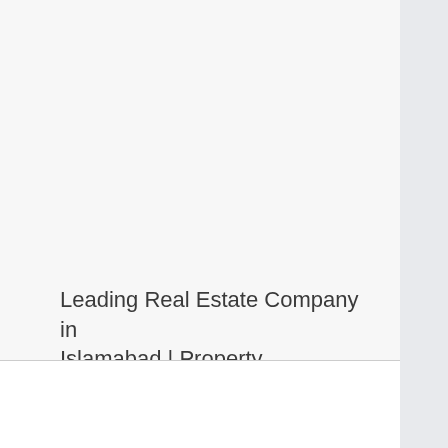Leading Real Estate Company in Islamabad | Property Consultants